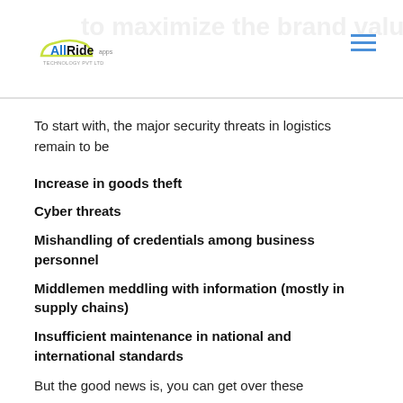AllRide apps
To start with, the major security threats in logistics remain to be
Increase in goods theft
Cyber threats
Mishandling of credentials among business personnel
Middlemen meddling with information (mostly in supply chains)
Insufficient maintenance in national and international standards
But the good news is, you can get over these